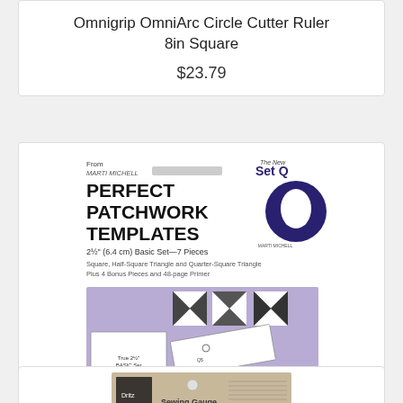Omnigrip OmniArc Circle Cutter Ruler 8in Square
$23.79
[Figure (photo): Product image of Perfect Patchwork Templates New Set Q — a package showing geometric quilting template pieces on a purple/lavender background, by Marti Michell]
Perfect Patchwork Templates New Set Q
$19.98
[Figure (photo): Partial product image of a sewing gauge tool at the bottom of the page]